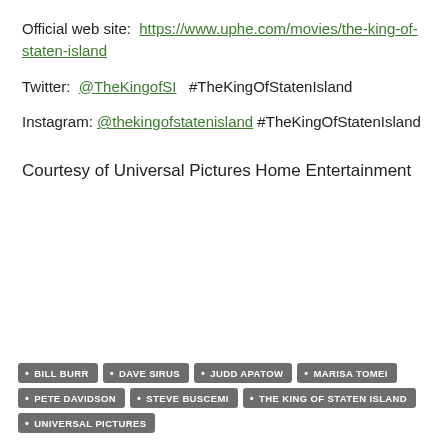Official web site: https://www.uphe.com/movies/the-king-of-staten-island
Twitter: @TheKingofSI  #TheKingOfStatenIsland
Instagram: @thekingofstatenisland #TheKingOfStatenIsland
Courtesy of Universal Pictures Home Entertainment
BILL BURR
DAVE SIRUS
JUDD APATOW
MARISA TOMEI
PETE DAVIDSON
STEVE BUSCEMI
THE KING OF STATEN ISLAND
UNIVERSAL PICTURES